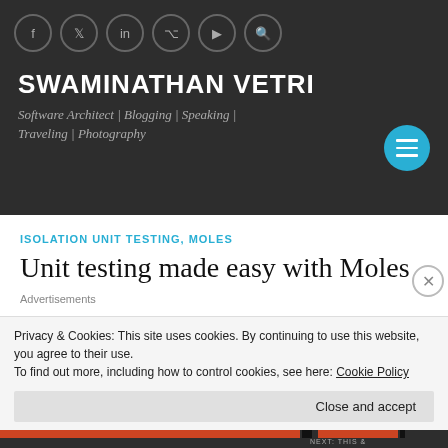SWAMINATHAN VETRI — Software Architect | Blogging | Speaking | Traveling | Photography
ISOLATION UNIT TESTING, MOLES
Unit testing made easy with Moles
Advertisements
Privacy & Cookies: This site uses cookies. By continuing to use this website, you agree to their use. To find out more, including how to control cookies, see here: Cookie Policy
Close and accept